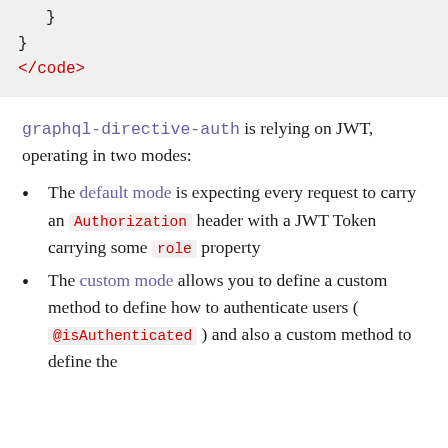}
}
</code>
graphql-directive-auth is relying on JWT, operating in two modes:
The default mode is expecting every request to carry an Authorization header with a JWT Token carrying some role property
The custom mode allows you to define a custom method to define how to authenticate users ( @isAuthenticated ) and also a custom method to define the